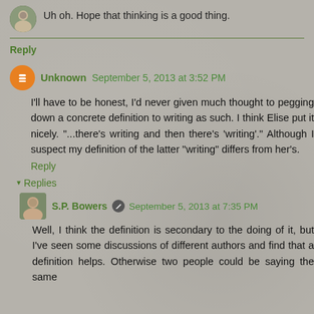Uh oh. Hope that thinking is a good thing.
Reply
Unknown  September 5, 2013 at 3:52 PM
I'll have to be honest, I'd never given much thought to pegging down a concrete definition to writing as such. I think Elise put it nicely. "...there's writing and then there's 'writing'." Although I suspect my definition of the latter "writing" differs from her's.
Reply
Replies
S.P. Bowers  September 5, 2013 at 7:35 PM
Well, I think the definition is secondary to the doing of it, but I've seen some discussions of different authors and find that a definition helps. Otherwise two people could be saying the same